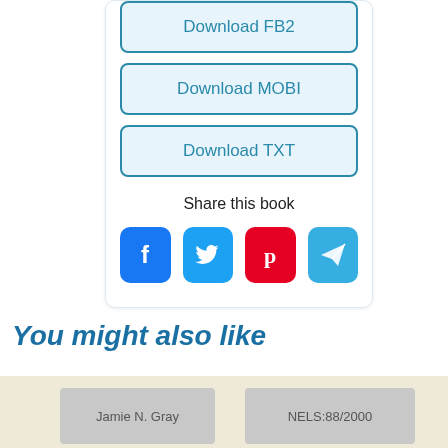Download FB2
Download MOBI
Download TXT
Share this book
[Figure (infographic): Four social sharing icon buttons: Facebook (blue), Twitter (teal), Pinterest (red), Telegram (light blue)]
You might also like
Jamie N. Gray
NELS:88/2000